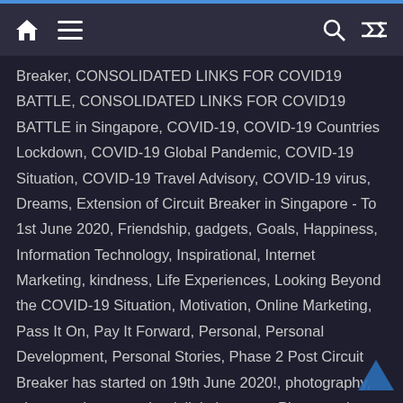Navigation bar with home, menu, search, and shuffle icons
Breaker, CONSOLIDATED LINKS FOR COVID19 BATTLE, CONSOLIDATED LINKS FOR COVID19 BATTLE in Singapore, COVID-19, COVID-19 Countries Lockdown, COVID-19 Global Pandemic, COVID-19 Situation, COVID-19 Travel Advisory, COVID-19 virus, Dreams, Extension of Circuit Breaker in Singapore - To 1st June 2020, Friendship, gadgets, Goals, Happiness, Information Technology, Inspirational, Internet Marketing, kindness, Life Experiences, Looking Beyond the COVID-19 Situation, Motivation, Online Marketing, Pass It On, Pay It Forward, Personal, Personal Development, Personal Stories, Phase 2 Post Circuit Breaker has started on 19th June 2020!, photography, photography + creative / digital agency, Photography Business, Post Circuit Breaker, Post Circuit Breaker in Singapore, Singapore, Singapore Circuit Breaker, Singapore CONSOLIDATED LINKS FOR COVID19 BATTLE, Social Media Networking, Social Networking, Sole Proprietor Photography Business, Start of Circuit Breaker in Singapore - 7th April 2020,